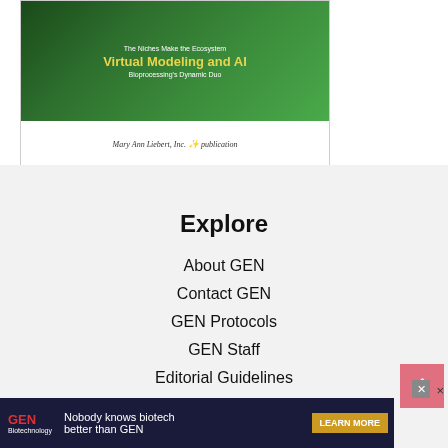[Figure (illustration): Magazine cover showing green nature background with text 'The Niches Make the Ecosystem', 'Virtual Modeling and AI', 'Bioprocessing's Dynamic Duo', and Mary Ann Liebert Inc. publication logo at bottom]
Explore
About GEN
Contact GEN
GEN Protocols
GEN Staff
Editorial Guidelines
[Figure (illustration): Advertisement banner for GEN Biotechnology: 'Nobody knows biotech better than GEN' with LEARN MORE button]